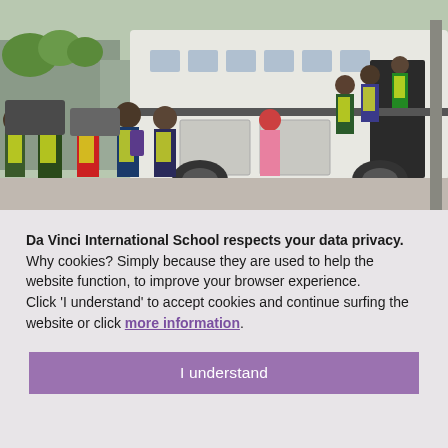[Figure (photo): Children wearing yellow high-visibility vests boarding or lining up next to a large white coach bus on a city street. Trees visible in background.]
Da Vinci International School respects your data privacy. Why cookies? Simply because they are used to help the website function, to improve your browser experience. Click 'I understand' to accept cookies and continue surfing the website or click more information.
I understand